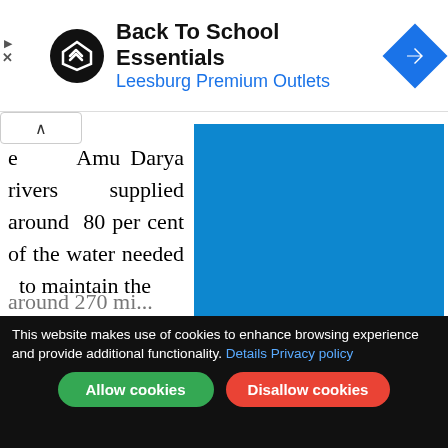[Figure (screenshot): Advertisement banner: Back To School Essentials at Leesburg Premium Outlets with a black circular logo and blue diamond navigation icon]
e Amu Darya rivers supplied around 80 per cent of the water needed to maintain the Aral Sea, with the rest coming from smaller rivers, rainfall and snowmelt (3). This kept the
[Figure (photo): Blue placeholder image]
[Figure (screenshot): Cookie consent bar: This website makes use of cookies to enhance browsing experience and provide additional functionality. Details Privacy policy. Allow cookies / Disallow cookies buttons.]